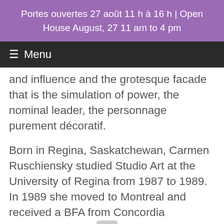Portes ouvertes 27 août 11 h à 16 h | Open House August, 27 11 am to 4 pm
≡ Menu
and influence and the grotesque facade that is the simulation of power, the nominal leader, the personnage purement décoratif.
Born in Regina, Saskatchewan, Carmen Ruschiensky studied Studio Art at the University of Regina from 1987 to 1989. In 1989 she moved to Montreal and received a BFA from Concordia University in 199… Ruschiensky recently presented her work